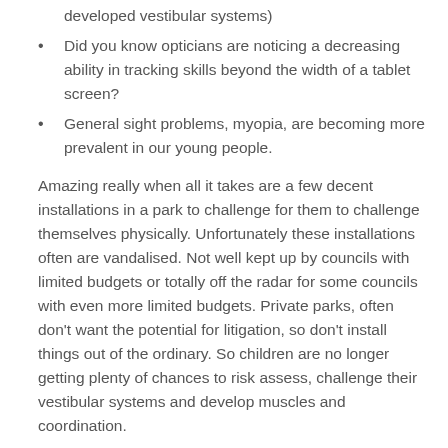developed vestibular systems)
Did you know opticians are noticing a decreasing ability in tracking skills beyond the width of a tablet screen?
General sight problems, myopia, are becoming more prevalent in our young people.
Amazing really when all it takes are a few decent installations in a park to challenge for them to challenge themselves physically. Unfortunately these installations often are vandalised. Not well kept up by councils with limited budgets or totally off the radar for some councils with even more limited budgets. Private parks, often don’t want the potential for litigation, so don’t install things out of the ordinary. So children are no longer getting plenty of chances to risk assess, challenge their vestibular systems and develop muscles and coordination.